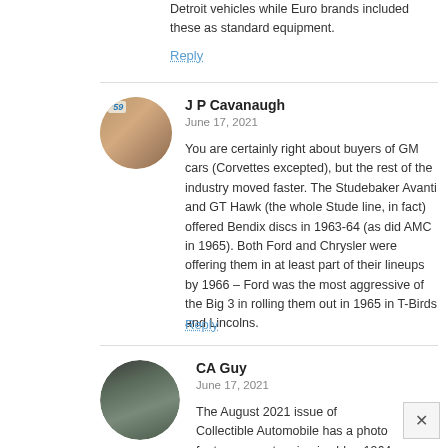Detroit vehicles while Euro brands included these as standard equipment.
Reply
J P Cavanaugh
June 17, 2021
You are certainly right about buyers of GM cars (Corvettes excepted), but the rest of the industry moved faster. The Studebaker Avanti and GT Hawk (the whole Stude line, in fact) offered Bendix discs in 1963-64 (as did AMC in 1965). Both Ford and Chrysler were offering them in at least part of their lineups by 1966 – Ford was the most aggressive of the Big 3 in rolling them out in 1965 in T-Birds and Lincolns.
Reply
CA Guy
June 17, 2021
The August 2021 issue of Collectible Automobile has a photo feature on a stunning ice blue 1964 Studebaker Daytona Convertible Coupe that has the optional disc brakes. I never realized how slow GM was to offer them. Our 1965 Thunderbird coupe had the standard front discs and they performed so much better than the drum brakes on my friends 1964 Thunderbird convertible. Almost from the beginning contemporary road testers constantly complained about the heavy four-seat Thunderbirds